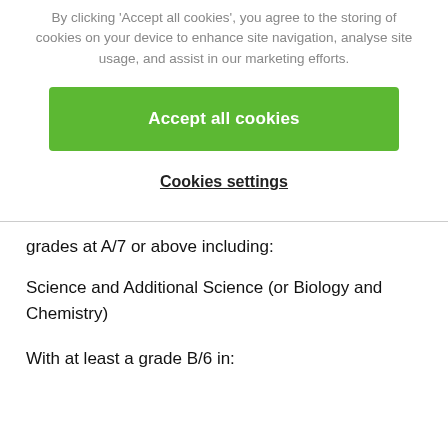By clicking 'Accept all cookies', you agree to the storing of cookies on your device to enhance site navigation, analyse site usage, and assist in our marketing efforts.
Accept all cookies
Cookies settings
grades at A/7 or above including:
Science and Additional Science (or Biology and Chemistry)
With at least a grade B/6 in: